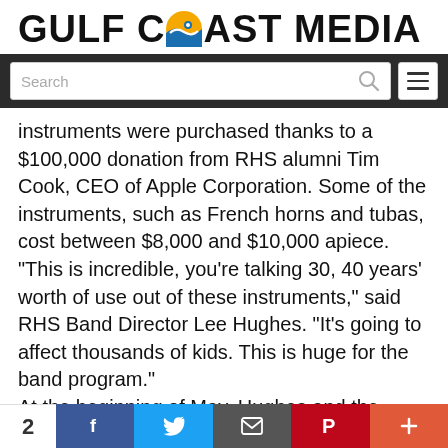GULF COAST MEDIA
[Figure (screenshot): Navigation bar with search input field and hamburger menu button on dark background]
instruments were purchased thanks to a $100,000 donation from RHS alumni Tim Cook, CEO of Apple Corporation. Some of the instruments, such as French horns and tubas, cost between $8,000 and $10,000 apiece.
"This is incredible, you're talking 30, 40 years' worth of use out of these instruments," said RHS Band Director Lee Hughes. "It's going to affect thousands of kids. This is huge for the band program."
At the beginning of May, Hughes and the other directors met with Principal Joe Sharp about the
2